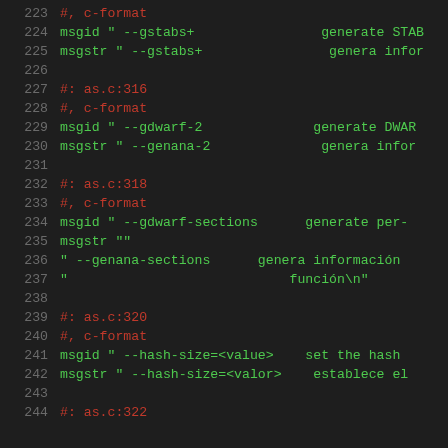Code listing lines 223-244: gettext PO file entries for gstabs+, gdwarf-2, gdwarf-sections, and hash-size options with Spanish translations.